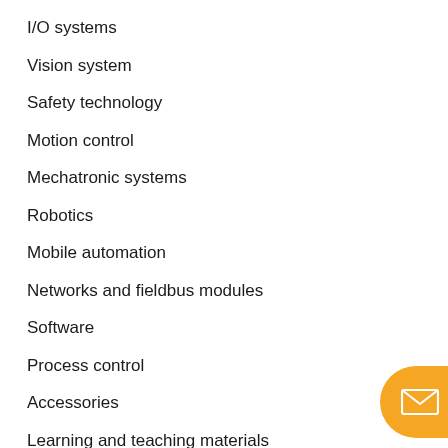I/O systems
Vision system
Safety technology
Motion control
Mechatronic systems
Robotics
Mobile automation
Networks and fieldbus modules
Software
Process control
Accessories
Learning and teaching materials
[Figure (illustration): Orange rounded button with envelope/email icon at bottom right corner]